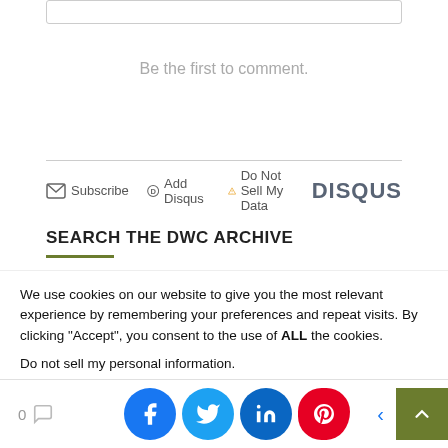Be the first to comment.
Subscribe  Add Disqus  Do Not Sell My Data   DISQUS
SEARCH THE DWC ARCHIVE
We use cookies on our website to give you the most relevant experience by remembering your preferences and repeat visits. By clicking “Accept”, you consent to the use of ALL the cookies.
Do not sell my personal information.
Cookie Settings   Accept